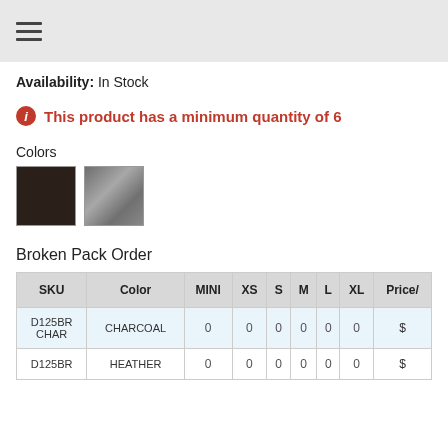≡
Availability: In Stock
ⓘ This product has a minimum quantity of 6
Colors
[Figure (photo): Two color swatches: dark brown/charcoal fabric texture and gray/heather fabric texture]
Broken Pack Order
| SKU | Color | MINI | XS | S | M | L | XL | Price/ |
| --- | --- | --- | --- | --- | --- | --- | --- | --- |
| D125BR CHAR | CHARCOAL | 0 | 0 | 0 | 0 | 0 | 0 | $ |
| D125BR | HEATHER | 0 | 0 | 0 | 0 | 0 | 0 | $ |